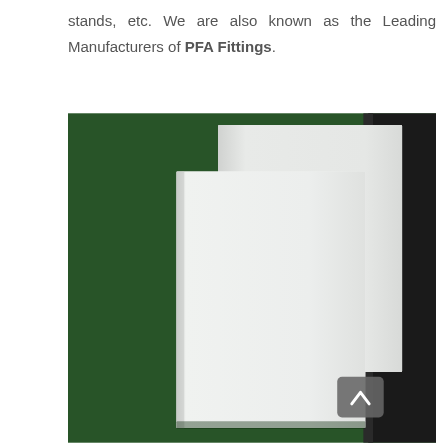stands, etc. We are also known as the Leading Manufacturers of PFA Fittings.
[Figure (photo): Two white semi-transparent plastic or PTFE/PFA sheets leaning against a dark green textured background, with a dark grey panel partially visible on the right. A small grey scroll-up button with a caret/chevron icon is visible in the lower right area of the photo.]